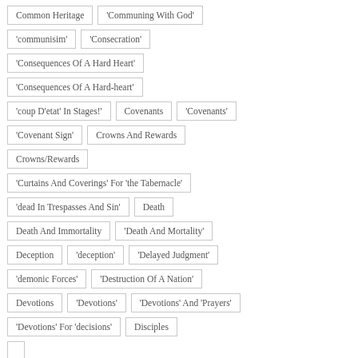Common Heritage
'Communing With God'
'communisim'
'Consecration'
'Consequences Of A Hard Heart'
'Consequences Of A Hard-heart'
'coup D'etat' In Stages!
Covenants
'Covenants'
'Covenant Sign'
Crowns And Rewards
Crowns/Rewards
'Curtains And Coverings' For 'the Tabernacle'
'dead In Trespasses And Sin'
Death
Death And Immortality
'Death And Mortality'
Deception
'deception'
'Delayed Judgment'
'demonic Forces'
'Destruction Of A Nation'
Devotions
'Devotions'
'Devotions' And 'Prayers'
'Devotions' For 'decisions'
Disciples